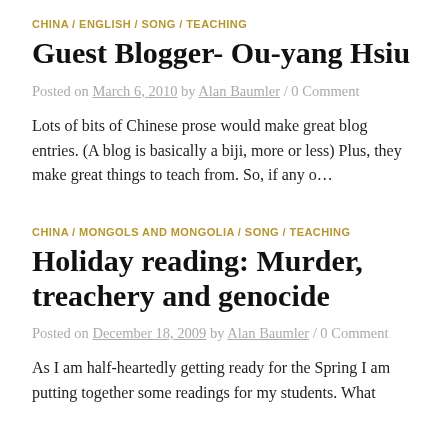CHINA / ENGLISH / SONG / TEACHING
Guest Blogger- Ou-yang Hsiu
Posted on March 6, 2010 by Alan Baumler / 0 Comment
Lots of bits of Chinese prose would make great blog entries. (A blog is basically a biji, more or less) Plus, they make great things to teach from. So, if any o…
CHINA / MONGOLS AND MONGOLIA / SONG / TEACHING
Holiday reading: Murder, treachery and genocide
Posted on December 18, 2009 by Alan Baumler / 0 Comment
As I am half-heartedly getting ready for the Spring I am putting together some readings for my students. What